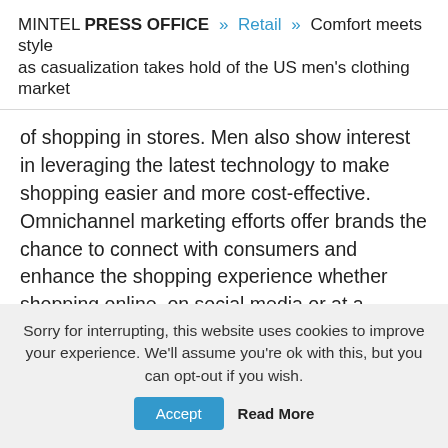MINTEL PRESS OFFICE » Retail » Comfort meets style as casualization takes hold of the US men's clothing market
of shopping in stores. Men also show interest in leveraging the latest technology to make shopping easier and more cost-effective. Omnichannel marketing efforts offer brands the chance to connect with consumers and enhance the shopping experience whether shopping online, on social media or at a retailer," continued Ghosh.
Men are also interested in innovation to alleviate common clothes shopping challenges such as finding clothing with the right fit. Indeed, one third (34 percent) of male clothing
Sorry for interrupting, this website uses cookies to improve your experience. We'll assume you're ok with this, but you can opt-out if you wish.